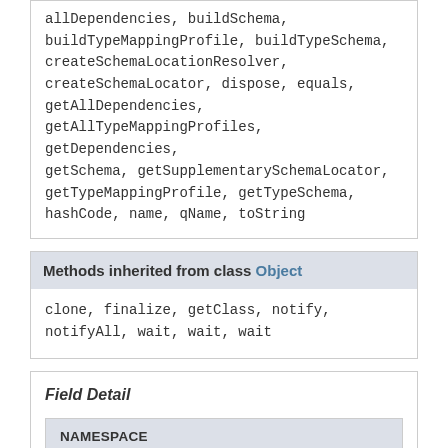allDependencies, buildSchema, buildTypeMappingProfile, buildTypeSchema, createSchemaLocationResolver, createSchemaLocator, dispose, equals, getAllDependencies, getAllTypeMappingProfiles, getDependencies, getSchema, getSupplementarySchemaLocator, getTypeMappingProfile, getTypeSchema, hashCode, name, qName, toString
Methods inherited from class Object
clone, finalize, getClass, notify, notifyAll, wait, wait, wait
Field Detail
NAMESPACE
public static final String NAMESPACE